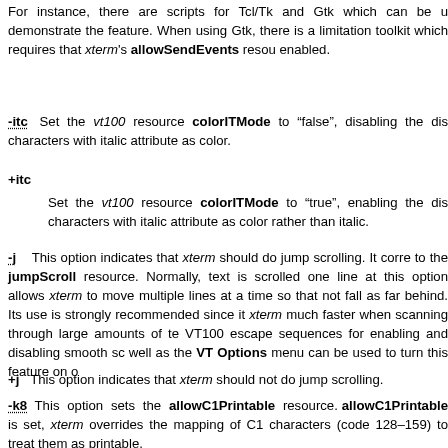For instance, there are scripts for Tcl/Tk and Gtk which can be used to demonstrate the feature. When using Gtk, there is a limitation in the toolkit which requires that xterm's allowSendEvents resource be enabled.
-itc  Set the vt100 resource colorITMode to “false”, disabling the display of characters with italic attribute as color.
+itc  Set the vt100 resource colorITMode to “true”, enabling the display of characters with italic attribute as color rather than italic.
-j  This option indicates that xterm should do jump scrolling. It corresponds to the jumpScroll resource. Normally, text is scrolled one line at a time; this option allows xterm to move multiple lines at a time so that the screen does not fall as far behind. Its use is strongly recommended since it makes xterm much faster when scanning through large amounts of text. The VT100 escape sequences for enabling and disabling smooth scrolling as well as the VT Options menu can be used to turn this feature on or off.
+j  This option indicates that xterm should not do jump scrolling.
-k8  This option sets the allowC1Printable resource. When allowC1Printable is set, xterm overrides the mapping of C1 control characters (code 128–159) to treat them as printable.